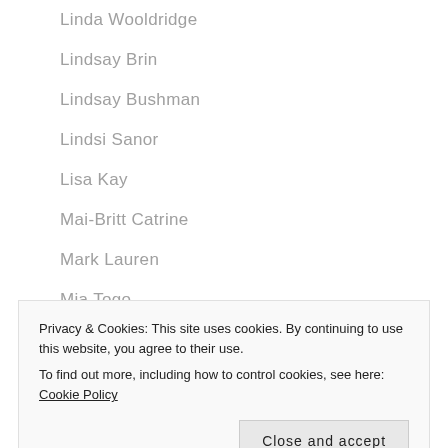Linda Wooldridge
Lindsay Brin
Lindsay Bushman
Lindsi Sanor
Lisa Kay
Mai-Britt Catrine
Mark Lauren
Mia Togo
Michele Lumadue
Privacy & Cookies: This site uses cookies. By continuing to use this website, you agree to their use. To find out more, including how to control cookies, see here: Cookie Policy
Miranda Esmonde-White